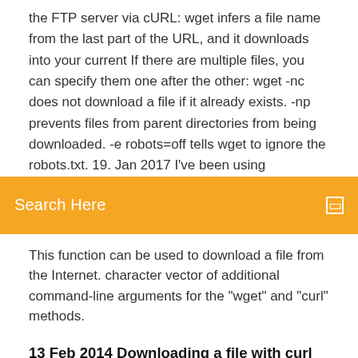the FTP server via cURL: wget infers a file name from the last part of the URL, and it downloads into your current If there are multiple files, you can specify them one after the other: wget -nc does not download a file if it already exists. -np prevents files from parent directories from being downloaded. -e robots=off tells wget to ignore the robots.txt. 19. Jan 2017 I've been using
[Figure (screenshot): Orange search bar with 'Search Here' text and a small square icon on the right]
This function can be used to download a file from the Internet. character vector of additional command-line arguments for the "wget" and "curl" methods.
13 Feb 2014 Downloading a file with curl cURL can easily download multiple files at the same time, all you need to do is specify more than one URL like
22 Jun 2014 you could do with xargs or a simple for loop: for i in `seq 0 9` ; do curl -O "http://www.*site*.com/$i.png"; done. EDIT: i didn't know you could use. 5 Nov 2019 Downloading a file using